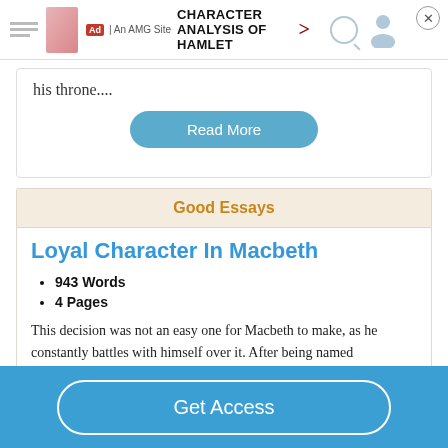[Figure (screenshot): Ad banner: CHARACTER ANALYSIS OF HAMLET, An AMG Site, with arrow and close button]
his throne....
Read More
Good Essays
Loyal Character In Macbeth
943 Words
4 Pages
This decision was not an easy one for Macbeth to make, as he constantly battles with himself over it. After being named
Get Access